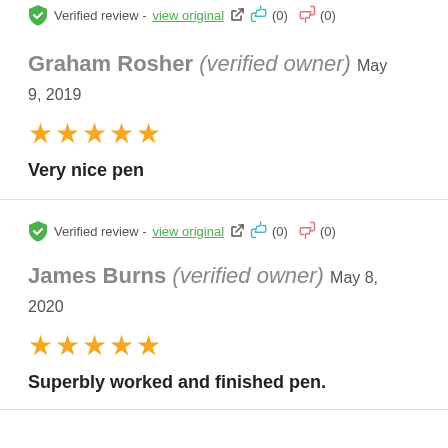Verified review - view original (0) (0)
Graham Rosher (verified owner) May 9, 2019
[Figure (other): 5 gold stars rating]
Very nice pen
Verified review - view original (0) (0)
James Burns (verified owner) May 8, 2020
[Figure (other): 5 gold stars rating]
Superbly worked and finished pen.